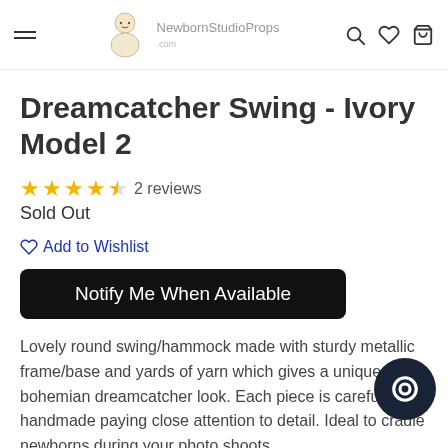NewbornStudioProps
Dreamcatcher Swing - Ivory Model 2
★★★★½ 2 reviews
Sold Out
Add to Wishlist
Notify Me When Available
Lovely round swing/hammock made with sturdy metallic frame/base and yards of yarn which gives a unique bohemian dreamcatcher look. Each piece is carefully handmade paying close attention to detail. Ideal to cradle newborns during your photo shoots